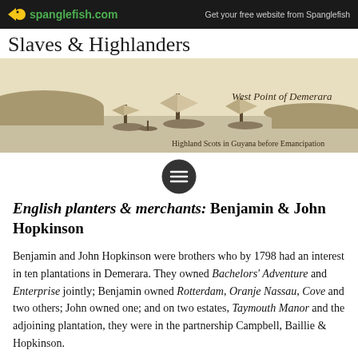spanglefish.com | Get your free website from Spanglefish
Slaves & Highlanders
[Figure (illustration): Sepia-toned historical illustration of sailing ships at West Point of Demerara with coastline. Caption reads 'West Point of Demerara' and subtitle 'Highland Scots in Guyana before Emancipation']
English planters & merchants: Benjamin & John Hopkinson
Benjamin and John Hopkinson were brothers who by 1798 had an interest in ten plantations in Demerara. They owned Bachelors' Adventure and Enterprise jointly; Benjamin owned Rotterdam, Oranje Nassau, Cove and two others; John owned one; and on two estates, Taymouth Manor and the adjoining plantation, they were in the partnership Campbell, Baillie & Hopkinson.
Benjamin Hopkinson [d1801]